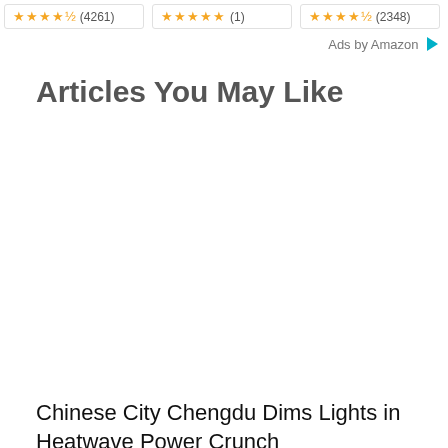[Figure (other): Three product rating boxes with star ratings: (4261), (1), (2348)]
Ads by Amazon
Articles You May Like
[Figure (photo): Article thumbnail image (blank/white area)]
Chinese City Chengdu Dims Lights in Heatwave Power Crunch